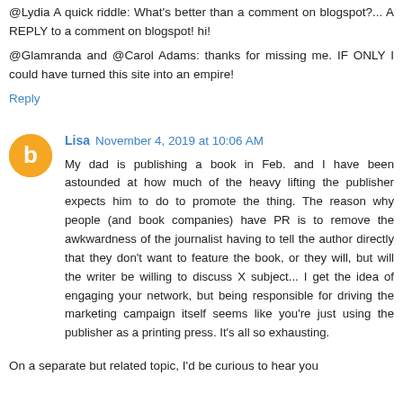@Lydia A quick riddle: What's better than a comment on blogspot?... A REPLY to a comment on blogspot! hi!
@Glamranda and @Carol Adams: thanks for missing me. IF ONLY I could have turned this site into an empire!
Reply
Lisa  November 4, 2019 at 10:06 AM
My dad is publishing a book in Feb. and I have been astounded at how much of the heavy lifting the publisher expects him to do to promote the thing. The reason why people (and book companies) have PR is to remove the awkwardness of the journalist having to tell the author directly that they don't want to feature the book, or they will, but will the writer be willing to discuss X subject... I get the idea of engaging your network, but being responsible for driving the marketing campaign itself seems like you're just using the publisher as a printing press. It's all so exhausting.
On a separate but related topic, I'd be curious to hear you